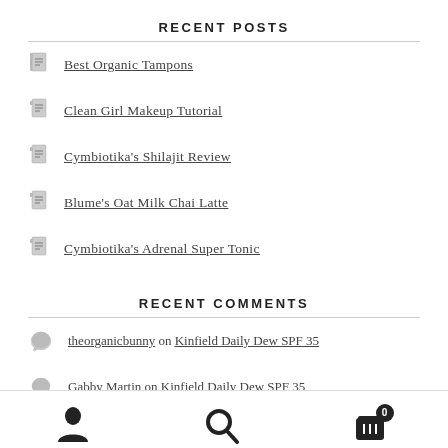RECENT POSTS
Best Organic Tampons
Clean Girl Makeup Tutorial
Cymbiotika's Shilajit Review
Blume's Oat Milk Chai Latte
Cymbiotika's Adrenal Super Tonic
RECENT COMMENTS
theorganicbunny on Kinfield Daily Dew SPF 35
Gabby Martin on Kinfield Daily Dew SPF 35
user account, search, cart (0)